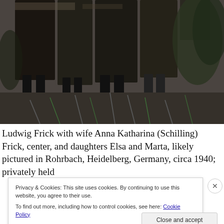[Figure (photo): Black and white photograph showing several people standing outdoors in a garden. Only the lower bodies/torsos are visible. The people are wearing coats and skirts. Garden plants and foliage visible in background.]
Ludwig Frick with wife Anna Katharina (Schilling) Frick, center, and daughters Elsa and Marta, likely pictured in Rohrbach, Heidelberg, Germany, circa 1940; privately held
Privacy & Cookies: This site uses cookies. By continuing to use this website, you agree to their use.
To find out more, including how to control cookies, see here: Cookie Policy
Close and accept